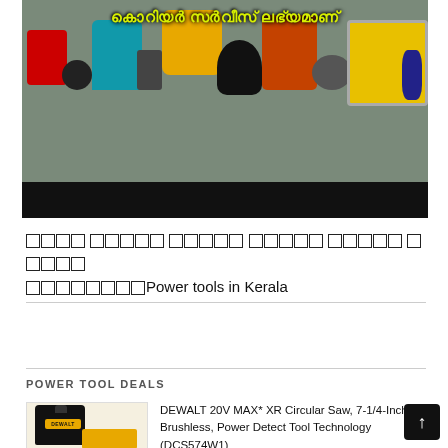[Figure (photo): Banner image showing various power tools (drills, grinders, welders, pressure washers) with Malayalam text overlay in yellow-green reading 'courier service available' and a black bar at the bottom.]
██████ ████████ █████ █████ ███ ███████Power tools in Kerala
POWER TOOL DEALS
[Figure (photo): DEWALT circular saw product image showing yellow and black tool with carrying bag.]
DEWALT 20V MAX* XR Circular Saw, 7-1/4-Inch, Brushless, Power Detect Tool Technology (DCS574W1)